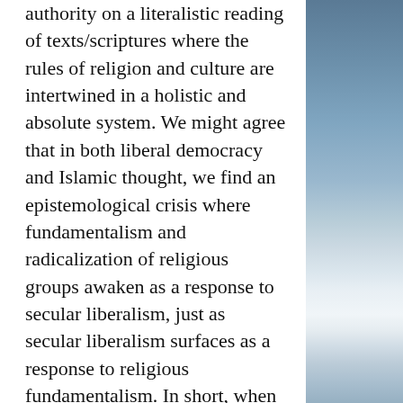authority on a literalistic reading of texts/scriptures where the rules of religion and culture are intertwined in a holistic and absolute system. We might agree that in both liberal democracy and Islamic thought, we find an epistemological crisis where fundamentalism and radicalization of religious groups awaken as a response to secular liberalism, just as secular liberalism surfaces as a response to religious fundamentalism. In short, when historically founded traditions confront a new and alien tradition as a complete antithesis, it threatens the integrity of the tradition as a whole; in particular, theological traditions perceive